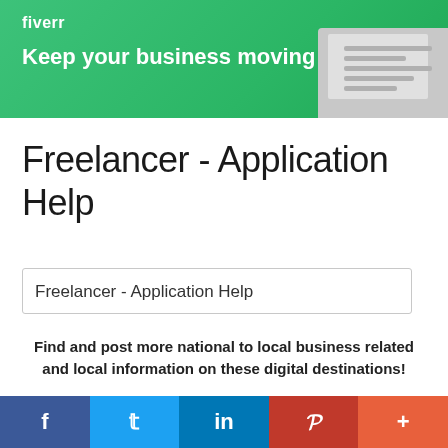[Figure (screenshot): Fiverr banner ad with green gradient background, logo 'fiverr', tagline 'Keep your business moving forward', and a laptop image on the right]
Freelancer - Application Help
Freelancer - Application Help
Find and post more national to local business related and local information on these digital destinations!
Localzz | Localzz Network | Localzz Media |
[Figure (infographic): Social media share bar with Facebook, Twitter, LinkedIn, Pinterest, and More buttons]